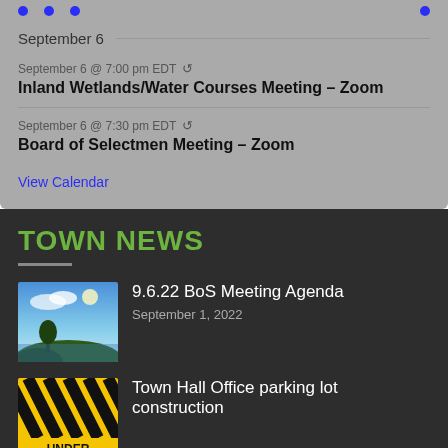September 6
September 6 @ 7:00 pm EDT
Inland Wetlands/Water Courses Meeting – Zoom
September 6 @ 7:30 pm EDT
Board of Selectmen Meeting – Zoom
View Calendar
TOWN NEWS
9.6.22 BoS Meeting Agenda
September 1, 2022
Town Hall Office parking lot construction